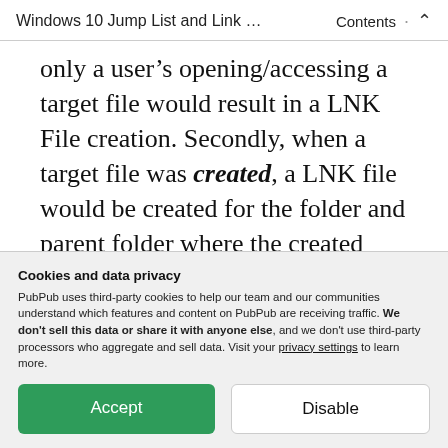Windows 10 Jump List and Link … Contents ∧
only a user's opening/accessing a target file would result in a LNK File creation. Secondly, when a target file was created, a LNK file would be created for the folder and parent folder where the created target file was created. (Lee, FOR500 Windows Forensic Analysis Textbook, Volume 3 Core Windows Forensics II: USB Devices and
Cookies and data privacy
PubPub uses third-party cookies to help our team and our communities understand which features and content on PubPub are receiving traffic. We don't sell this data or share it with anyone else, and we don't use third-party processors who aggregate and sell data. Visit your privacy settings to learn more.
Accept
Disable